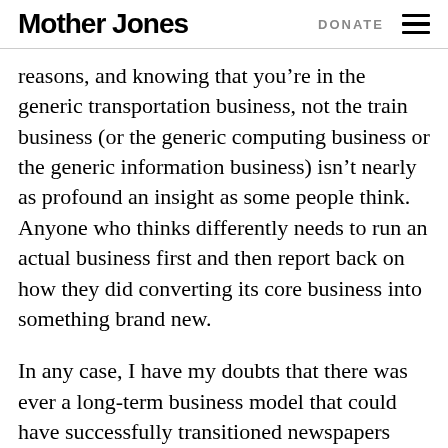Mother Jones | DONATE
reasons, and knowing that you’re in the generic transportation business, not the train business (or the generic computing business or the generic information business) isn’t nearly as profound an insight as some people think. Anyone who thinks differently needs to run an actual business first and then report back on how they did converting its core business into something brand new.
In any case, I have my doubts that there was ever a long-term business model that could have successfully transitioned newspapers onto the web. Sure, the print news media could have done more — though simply asserting that newspapers could and should have done more anyway isn’t